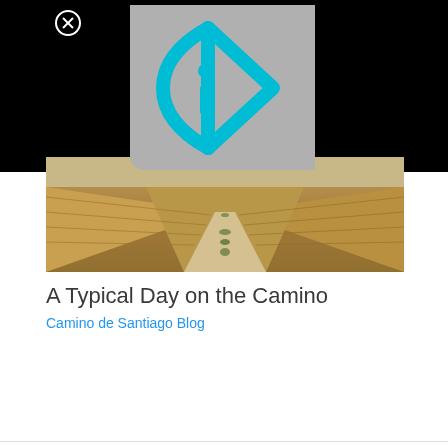[Figure (screenshot): Black overlay bar with a close (X) button in a circle at top-left, and a gray video thumbnail in the center showing a cyan/blue play-button-style logo (triangle with 'i' inside) — a video player interface.]
[Figure (photo): Landscape photograph of the Camino de Santiago: a gravel dirt path stretching toward the horizon through golden harvested wheat fields under a hazy sky.]
A Typical Day on the Camino
Camino de Santiago Blog